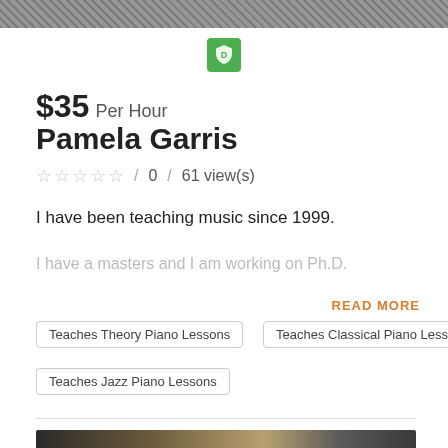[Figure (photo): Top banner photo, partially visible landscape or background]
[Figure (logo): Green shield/badge icon]
$35 Per Hour
Pamela Garris
☆ ☆ ☆ ☆ ☆  /  0  /  61 view(s)
I have been teaching music since 1999.
I have a masters and I am working on Ph.D.
READ MORE
Teaches Theory Piano Lessons
Teaches Classical Piano Lessons
Teaches Jazz Piano Lessons
[Figure (photo): Bottom photo showing a person at a piano, partially visible]